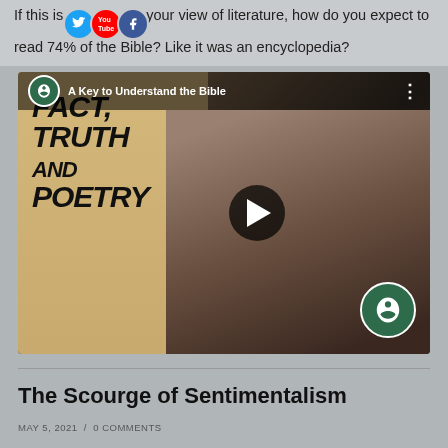If this is your view of literature, how do you expect to read 74% of the Bible? Like it was an encyclopedia?
[Figure (screenshot): Video thumbnail for 'A Key to Understand the Bible' featuring stylized text 'Fact, Truth and Poetry' on a tan background on the left, and a man with glasses on his head on the right, with a play button overlay and green circular channel icons.]
The Scourge of Sentimentalism
MAY 5, 2021  /  0 COMMENTS